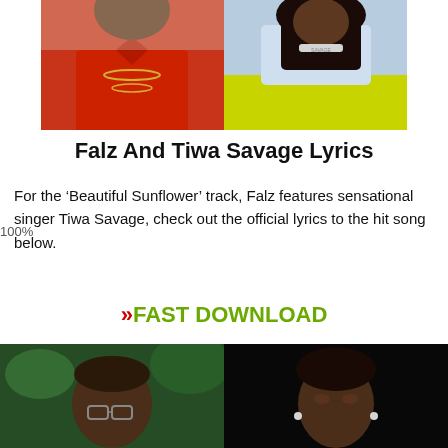[Figure (photo): Two photos side by side: man in red shirt with gold chains on left, woman in light blue top with yellow skirt and diamond necklace on right]
Falz And Tiwa Savage Lyrics
For the ‘Beautiful Sunflower’ track, Falz features sensational singer Tiwa Savage, check out the official lyrics to the hit song below.
» FAST DOWNLOAD
[Figure (photo): Two photos side by side: man with close-cropped hair and glasses on left with green background, woman with makeup and earrings on right with black background]